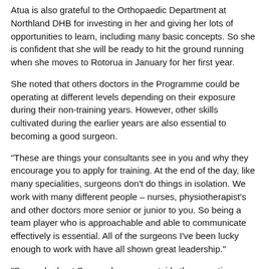Atua is also grateful to the Orthopaedic Department at Northland DHB for investing in her and giving her lots of opportunities to learn, including many basic concepts. So she is confident that she will be ready to hit the ground running when she moves to Rotorua in January for her first year.
She noted that others doctors in the Programme could be operating at different levels depending on their exposure during their non-training years. However, other skills cultivated during the earlier years are also essential to becoming a good surgeon.
"These are things your consultants see in you and why they encourage you to apply for training. At the end of the day, like many specialities, surgeons don't do things in isolation. We work with many different people – nurses, physiotherapist's and other doctors more senior or junior to you. So being a team player who is approachable and able to communicate effectively is essential. All of the surgeons I've been lucky enough to work with have all shown great leadership."
"So much about Surgery happens outside the operating theatre. And we all have a responsibility to be aware of these things. The most important qualities of being a good doctor are how you work